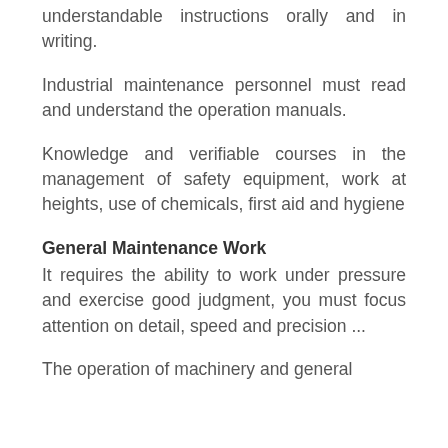understandable instructions orally and in writing.
Industrial maintenance personnel must read and understand the operation manuals.
Knowledge and verifiable courses in the management of safety equipment, work at heights, use of chemicals, first aid and hygiene
General Maintenance Work
It requires the ability to work under pressure and exercise good judgment, you must focus attention on detail, speed and precision ...
The operation of machinery and general